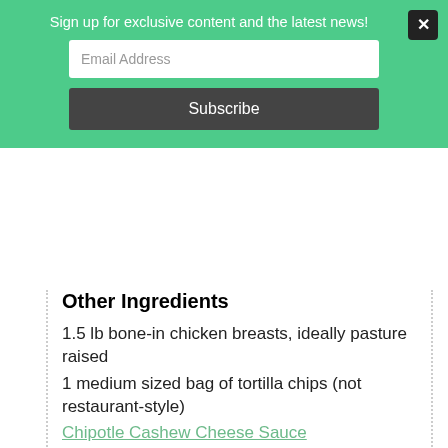Sign up for exclusive content and the latest news!
Email Address
Subscribe
Other Ingredients
1.5 lb bone-in chicken breasts, ideally pasture raised
1 medium sized bag of tortilla chips (not restaurant-style)
Chipotle Cashew Cheese Sauce
chopped fresh cilantro, for garnish
avocado slices, for garnish
Instructions
MAKE THE SAUCE